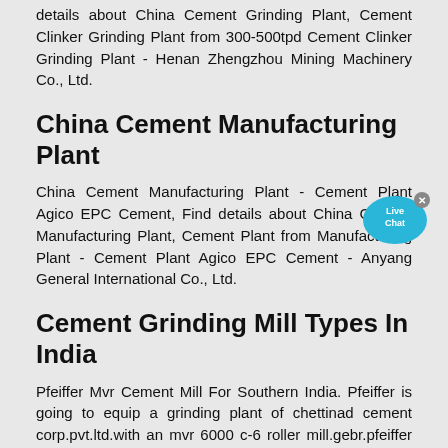details about China Cement Grinding Plant, Cement Clinker Grinding Plant from 300-500tpd Cement Clinker Grinding Plant - Henan Zhengzhou Mining Machinery Co., Ltd.
China Cement Manufacturing Plant
China Cement Manufacturing Plant - Cement Plant Agico EPC Cement, Find details about China Cement Manufacturing Plant, Cement Plant from Manufacturing Plant - Cement Plant Agico EPC Cement - Anyang General International Co., Ltd.
Cement Grinding Mill Types In India
Pfeiffer Mvr Cement Mill For Southern India. Pfeiffer is going to equip a grinding plant of chettinad cement corp.pvt.ltd.with an mvr 6000 c-6 roller mill.gebr.pfeiffer supplied almost 150 mps and mvr mills to india, with customers headquartered in delhi, mumbai, kolkata, hyderabad, ahmedabad and other cities, all of which are situated in ...
Star Cement to invest Rs 1,000 cr